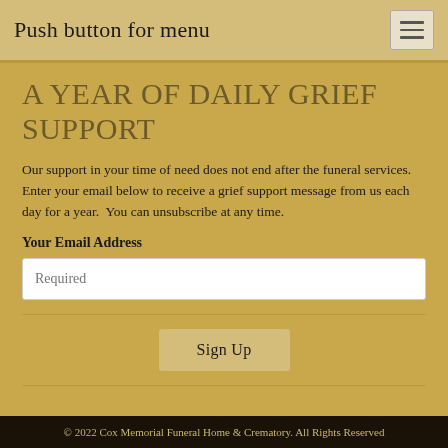Push button for menu
A YEAR OF DAILY GRIEF SUPPORT
Our support in your time of need does not end after the funeral services.  Enter your email below to receive a grief support message from us each day for a year.  You can unsubscribe at any time.
Your Email Address
Required
Sign Up
© 2022 Cox Memorial Funeral Home & Crematory. All Rights Reserved